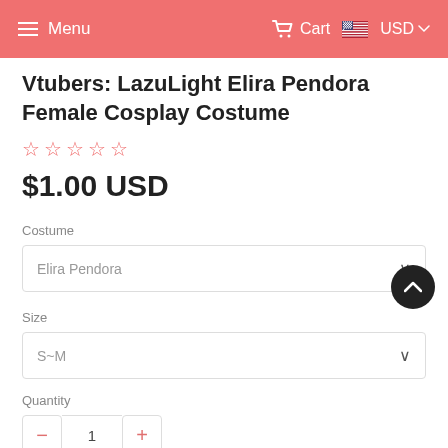Menu  Cart  USD
Vtubers: LazuLight Elira Pendora Female Cosplay Costume
0.00 stars (5 star rating, 0 reviews)
$1.00 USD
Costume
Elira Pendora
Size
S~M
Quantity
- 1 +